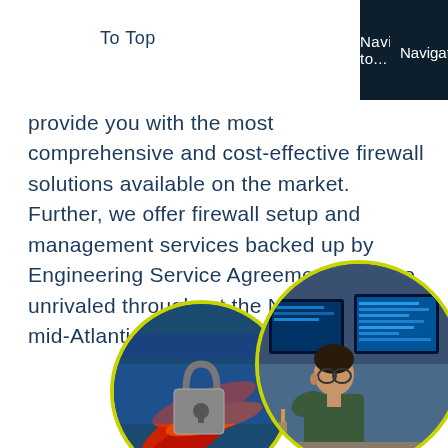To Top
Navigate to...
provide you with the most comprehensive and cost-effective firewall solutions available on the market. Further, we offer firewall setup and management services backed up by Engineering Service Agreements that go unrivaled throughout the Northeast and mid-Atlantic regions.
[Figure (photo): Circular photo showing server room cables and a padlock, representing network security]
[Figure (photo): Circular photo showing a man working at a computer workstation with multiple monitors]